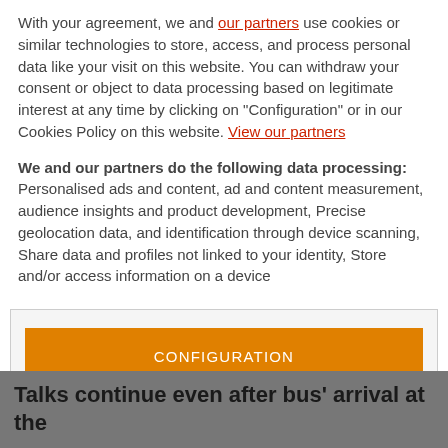With your agreement, we and our partners use cookies or similar technologies to store, access, and process personal data like your visit on this website. You can withdraw your consent or object to data processing based on legitimate interest at any time by clicking on "Configuration" or in our Cookies Policy on this website. View our partners
We and our partners do the following data processing: Personalised ads and content, ad and content measurement, audience insights and product development, Precise geolocation data, and identification through device scanning, Share data and profiles not linked to your identity, Store and/or access information on a device
CONFIGURATION
ACCEPT
Talks continue even after bus' arrival at the